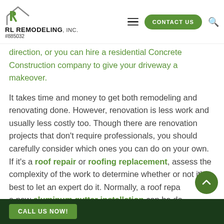RL REMODELING, INC. | #885032
direction, or you can hire a residential Concrete Construction company to give your driveway a makeover.
It takes time and money to get both remodeling and renovating done. However, renovation is less work and usually less costly too. Though there are renovation projects that don't require professionals, you should carefully consider which ones you can do on your own. If it's a roof repair or roofing replacement, assess the complexity of the work to determine whether or not it's best to let an expert do it. Normally, a roof repair or even a new aluminum gutter installation can be done by yourself but if you have no experience, then it is best to hire a professional commercial roof repair
CALL US NOW!